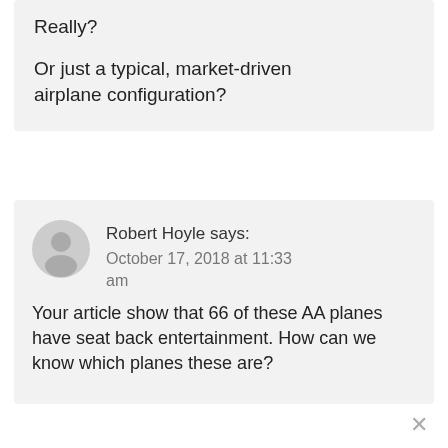Really?
Or just a typical, market-driven airplane configuration?
Robert Hoyle says: October 17, 2018 at 11:33 am
Your article show that 66 of these AA planes have seat back entertainment. How can we know which planes these are?